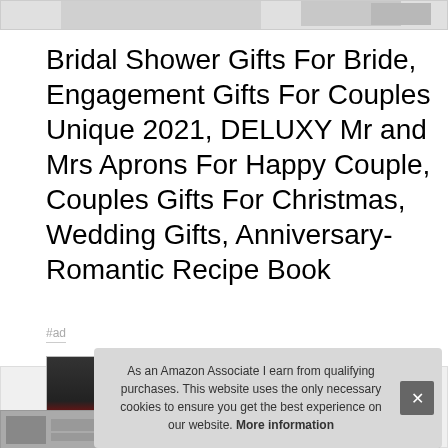[Figure (photo): Partial top strip of a product image, cropped at the top of the page]
Bridal Shower Gifts For Bride, Engagement Gifts For Couples Unique 2021, DELUXY Mr and Mrs Aprons For Happy Couple, Couples Gifts For Christmas, Wedding Gifts, Anniversary-Romantic Recipe Book
#ad
[Figure (photo): Product thumbnail image showing a dark book cover with red accents at bottom left]
[Figure (screenshot): Cookie consent banner with text: As an Amazon Associate I earn from qualifying purchases. This website uses the only necessary cookies to ensure you get the best experience on our website. More information. With an X close button.]